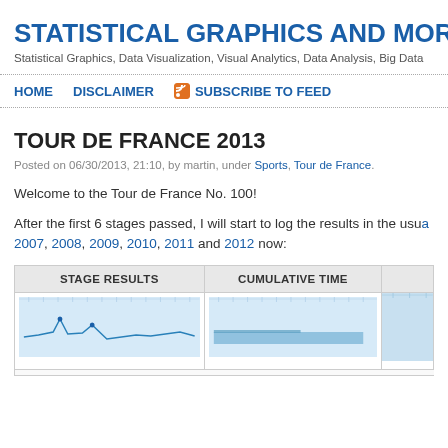STATISTICAL GRAPHICS AND MORE
Statistical Graphics, Data Visualization, Visual Analytics, Data Analysis, Big Data
HOME  DISCLAIMER  SUBSCRIBE TO FEED
TOUR DE FRANCE 2013
Posted on 06/30/2013, 21:10, by martin, under Sports, Tour de France.
Welcome to the Tour de France No. 100!
After the first 6 stages passed, I will start to log the results in the usual way as I did for 2007, 2008, 2009, 2010, 2011 and 2012 now:
| STAGE RESULTS | CUMULATIVE TIME |  |
| --- | --- | --- |
| [chart] | [chart] | [chart] |
[Figure (other): Stage results mini chart - light blue sparkline chart showing stage-by-stage results]
[Figure (other): Cumulative time mini chart - light blue bar/area chart showing cumulative time]
[Figure (other): Partial third chart visible at right edge]